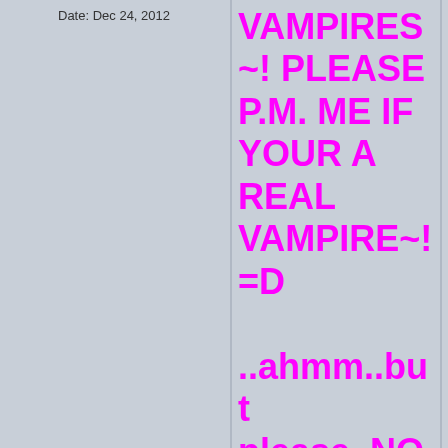Date: Dec 24, 2012
VAMPIRES~! PLEASE P.M. ME IF YOUR A REAL VAMPIRE~! =D ..ahmm..but please..NO FOOLING AROUND~! =)))